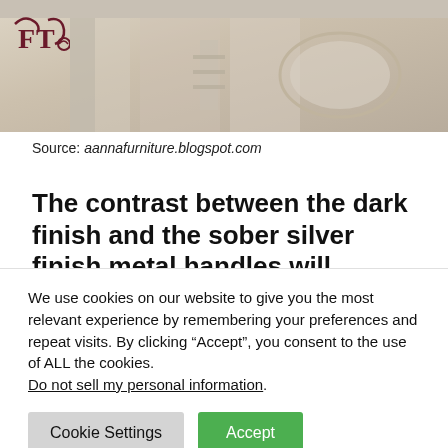[Figure (photo): Interior room photo showing cream/white ornate furniture and decor with a logo overlay in the top-left corner]
Source: aannafurniture.blogspot.com
The contrast between the dark finish and the sober silver finish metal handles will
We use cookies on our website to give you the most relevant experience by remembering your preferences and repeat visits. By clicking “Accept”, you consent to the use of ALL the cookies. Do not sell my personal information.